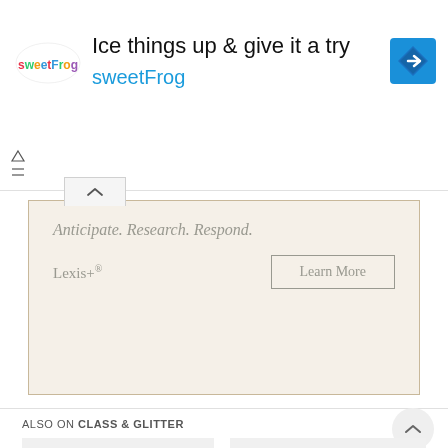[Figure (other): sweetFrog advertisement banner with logo, headline 'Ice things up & give it a try', brand name 'sweetFrog', and navigation arrow icon]
[Figure (other): Lexis+ advertisement box with tagline 'Anticipate. Research. Respond.', brand 'Lexis+®', and 'Learn More' button]
ALSO ON CLASS & GLITTER